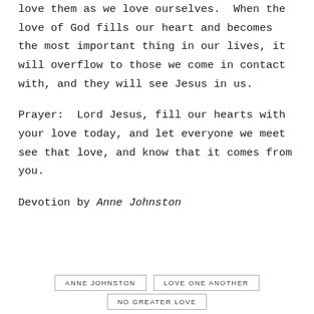love them as we love ourselves.  When the love of God fills our heart and becomes the most important thing in our lives, it will overflow to those we come in contact with, and they will see Jesus in us.
Prayer:  Lord Jesus, fill our hearts with your love today, and let everyone we meet see that love, and know that it comes from you.
Devotion by Anne Johnston
ANNE JOHNSTON
LOVE ONE ANOTHER
NO GREATER LOVE